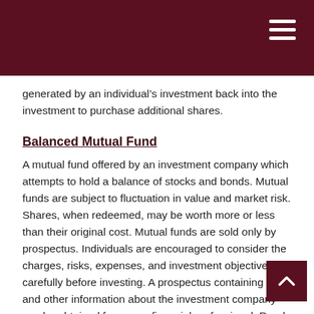generated by an individual's investment back into the investment to purchase additional shares.
Balanced Mutual Fund
A mutual fund offered by an investment company which attempts to hold a balance of stocks and bonds. Mutual funds are subject to fluctuation in value and market risk. Shares, when redeemed, may be worth more or less than their original cost. Mutual funds are sold only by prospectus. Individuals are encouraged to consider the charges, risks, expenses, and investment objectives carefully before investing. A prospectus containing this and other information about the investment company can be obtained from your financial professional. Read it carefully before you invest or send money.